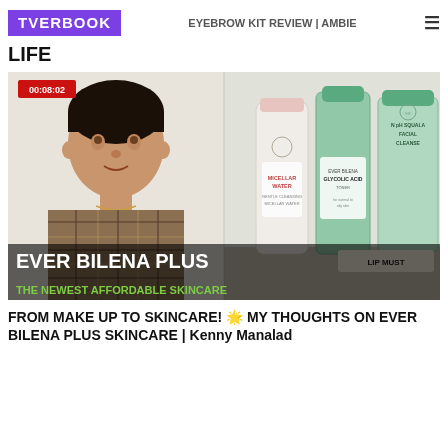TVERBOOK | EYEBROW KIT REVIEW | AMBIE LIFE
LIFE
[Figure (screenshot): Video thumbnail showing a young man on the left side wearing a plaid shirt, and skincare products (Micellar Water, Glycolic Acid, N pH Squalane Facial Cleanser bottles) on the right side. A red timestamp badge shows 00:08:02. Bottom overlay text reads 'EVER BILENA PLUS' and 'THE NEWEST AFFORDABLE SKINCARE'.]
FROM MAKE UP TO SKINCARE! 🌟 MY THOUGHTS ON EVER BILENA PLUS SKINCARE | Kenny Manalad